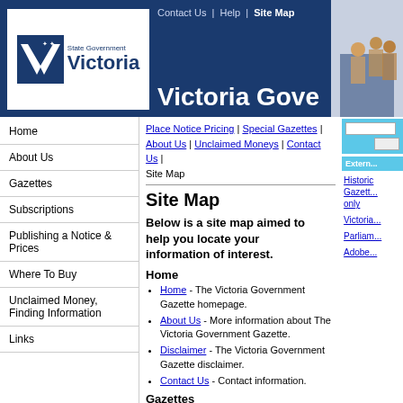State Government Victoria | Contact Us | Help | Site Map
Victoria Government Gazette
Place Notice Pricing | Special Gazettes | About Us | Unclaimed Moneys | Contact Us | Site Map
Site Map
Below is a site map aimed to help you locate your information of interest.
Home
Home - The Victoria Government Gazette homepage.
About Us - More information about The Victoria Government Gazette.
Disclaimer - The Victoria Government Gazette disclaimer.
Contact Us - Contact information.
Gazettes
Recent Gazettes - Download the most recent Victoria Government Gazettes.
Search Gazettes - Search the Victoria...